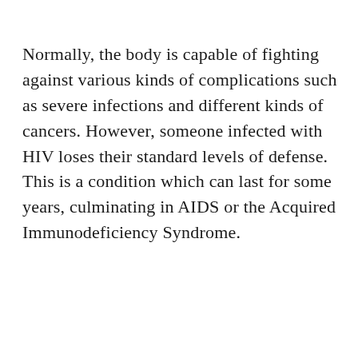Normally, the body is capable of fighting against various kinds of complications such as severe infections and different kinds of cancers. However, someone infected with HIV loses their standard levels of defense. This is a condition which can last for some years, culminating in AIDS or the Acquired Immunodeficiency Syndrome.